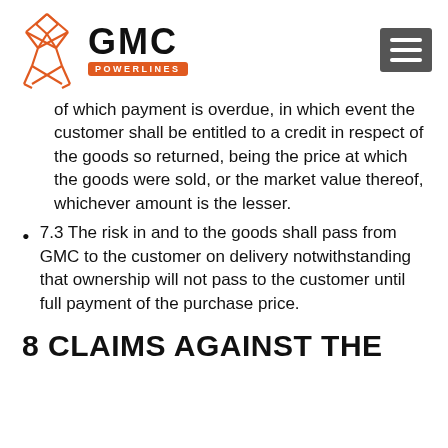GMC POWERLINES
of which payment is overdue, in which event the customer shall be entitled to a credit in respect of the goods so returned, being the price at which the goods were sold, or the market value thereof, whichever amount is the lesser.
7.3 The risk in and to the goods shall pass from GMC to the customer on delivery notwithstanding that ownership will not pass to the customer until full payment of the purchase price.
8 CLAIMS AGAINST THE